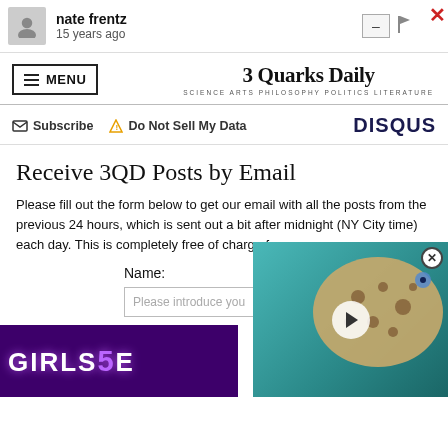nate frentz — 15 years ago
[Figure (screenshot): 3 Quarks Daily website header with menu button and site title/subtitle]
Subscribe   Do Not Sell My Data   DISQUS
Receive 3QD Posts by Email
Please fill out the form below to get our email with all the posts from the previous 24 hours, which is sent out a bit after midnight (NY City time) each day. This is completely free of charge for everyone.
Name:
[Figure (photo): Spotted animal (possibly a fish or bird) on a teal/blue-green background with video play button overlay]
[Figure (screenshot): Advertisement banner showing 'GIRLS 5E' text in purple with glowing dot-matrix style lettering]